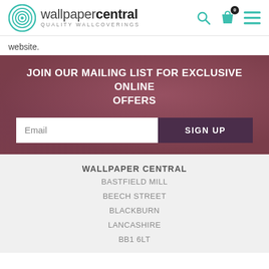[Figure (logo): Wallpaper Central logo with teal spiral icon and wordmark 'wallpapercentral QUALITY WALLCOVERINGS']
website.
JOIN OUR MAILING LIST FOR EXCLUSIVE ONLINE OFFERS
Email  SIGN UP
WALLPAPER CENTRAL
BASTFIELD MILL
BEECH STREET
BLACKBURN
LANCASHIRE
BB1 6LT